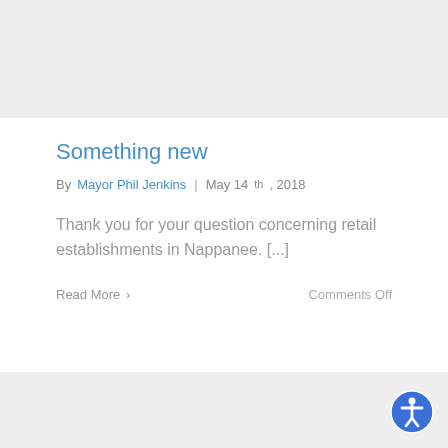[Figure (other): Gray banner/header image block at top of page]
Something new
By Mayor Phil Jenkins | May 14th, 2018
Thank you for your question concerning retail establishments in Nappanee. [...]
Read More >
Comments Off
[Figure (other): Gray footer block at bottom of page with accessibility icon button]